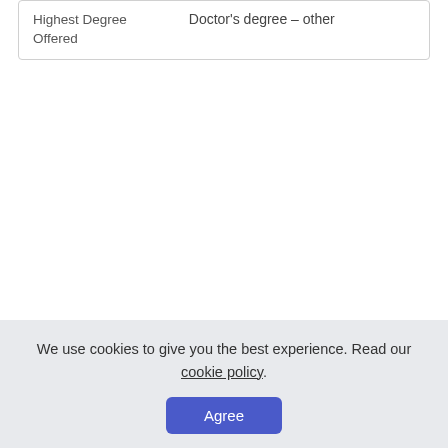| Highest Degree Offered | Doctor's degree – other |
We use cookies to give you the best experience. Read our cookie policy.